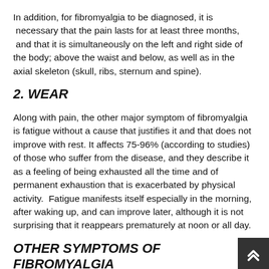In addition, for fibromyalgia to be diagnosed, it is necessary that the pain lasts for at least three months, and that it is simultaneously on the left and right side of the body; above the waist and below, as well as in the axial skeleton (skull, ribs, sternum and spine).
2. WEAR
Along with pain, the other major symptom of fibromyalgia is fatigue without a cause that justifies it and that does not improve with rest. It affects 75-96% (according to studies) of those who suffer from the disease, and they describe it as a feeling of being exhausted all the time and of permanent exhaustion that is exacerbated by physical activity. Fatigue manifests itself especially in the morning, after waking up, and can improve later, although it is not surprising that it reappears prematurely at noon or all day.
OTHER SYMPTOMS OF FIBROMYALGIA
Pain and fatigue are the most common symptoms, but not the only ones. Dr. Casanueva emphasizes that up 79 other symptoms have been described. The most